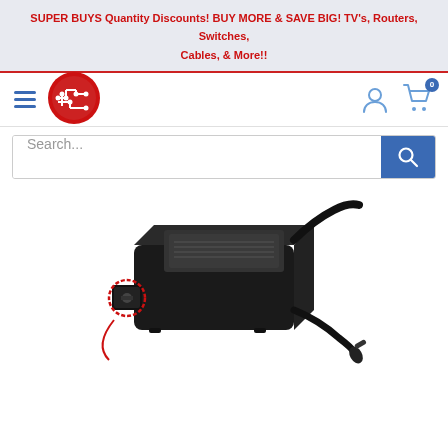SUPER BUYS Quantity Discounts! BUY MORE & SAVE BIG! TV's, Routers, Switches, Cables, & More!!
[Figure (logo): Red circular logo with circuit board traces pattern]
[Figure (screenshot): Search bar with blue search button]
[Figure (photo): Black AC power adapter/brick with IEC C14 inlet on left side highlighted with red circle and DC barrel connector on right side, black cable going up and right]